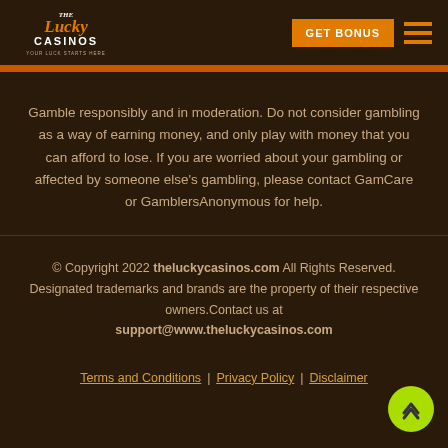The Lucky Casinos - GET BONUS
Gamble responsibly and in moderation. Do not consider gambling as a way of earning money, and only play with money that you can afford to lose. If you are worried about your gambling or affected by someone else's gambling, please contact GamCare or GamblersAnonymous for help.
© Copyright 2022 theluckycasinos.com All Rights Reserved. Designated trademarks and brands are the property of their respective owners.Contact us at support@www.theluckycasinos.com
Terms and Conditions  Privacy Policy  Disclaimer